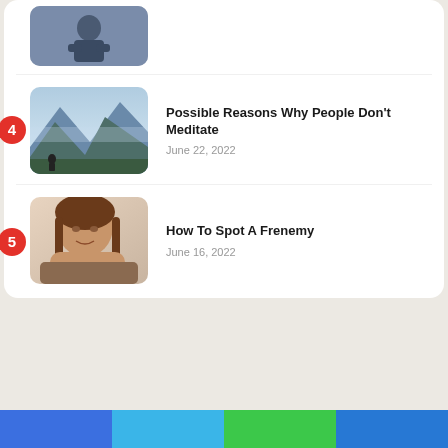[Figure (photo): Partial view of article item 3 thumbnail showing a person sitting]
[Figure (photo): Mountain landscape with a person meditating]
4
Possible Reasons Why People Don't Meditate
June 22, 2022
[Figure (photo): Woman with a cunning smile, resting chin on hands]
5
How To Spot A Frenemy
June 16, 2022